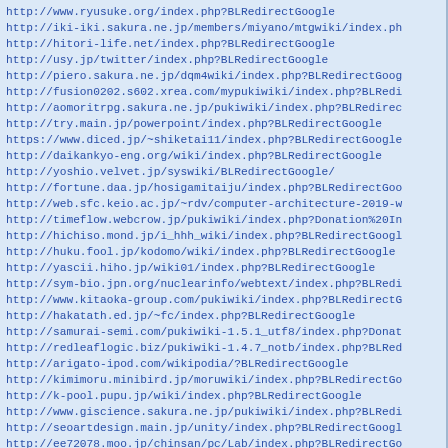http://www.ryusuke.org/index.php?BLRedirectGoogle
http://iki-iki.sakura.ne.jp/members/miyano/mtgwiki/index.ph
http://hitori-life.net/index.php?BLRedirectGoogle
http://usy.jp/twitter/index.php?BLRedirectGoogle
http://piero.sakura.ne.jp/dqm4wiki/index.php?BLRedirectGoog
http://fusion0202.s602.xrea.com/mypukiwiki/index.php?BLRedi
http://aomoritrpg.sakura.ne.jp/pukiwiki/index.php?BLRedirec
http://try.main.jp/powerpoint/index.php?BLRedirectGoogle
https://www.diced.jp/~shiketai11/index.php?BLRedirectGoogle
http://daikankyo-eng.org/wiki/index.php?BLRedirectGoogle
http://yoshio.velvet.jp/syswiki/BLRedirectGoogle/
http://fortune.daa.jp/hosigamitaiju/index.php?BLRedirectGoo
http://web.sfc.keio.ac.jp/~rdv/computer-architecture-2019-w
http://timeflow.webcrow.jp/pukiwiki/index.php?Donation%20In
http://hichiso.mond.jp/i_hhh_wiki/index.php?BLRedirectGoogl
http://huku.fool.jp/kodomo/wiki/index.php?BLRedirectGoogle
http://yascii.hiho.jp/wiki01/index.php?BLRedirectGoogle
http://sym-bio.jpn.org/nuclearinfo/webtext/index.php?BLRedi
http://www.kitaoka-group.com/pukiwiki/index.php?BLRedirectG
http://hakatath.ed.jp/~fc/index.php?BLRedirectGoogle
http://samurai-semi.com/pukiwiki-1.5.1_utf8/index.php?Donat
http://redleaflogic.biz/pukiwiki-1.4.7_notb/index.php?BLRed
http://arigato-ipod.com/wikipodia/?BLRedirectGoogle
http://kimimoru.minibird.jp/moruwiki/index.php?BLRedirectGo
http://k-pool.pupu.jp/wiki/index.php?BLRedirectGoogle
http://www.giscience.sakura.ne.jp/pukiwiki/index.php?BLRedi
http://seoartdesign.main.jp/unity/index.php?BLRedirectGoogl
http://ee72078.moo.jp/chinsan/pc/Lab/index.php?BLRedirectGo